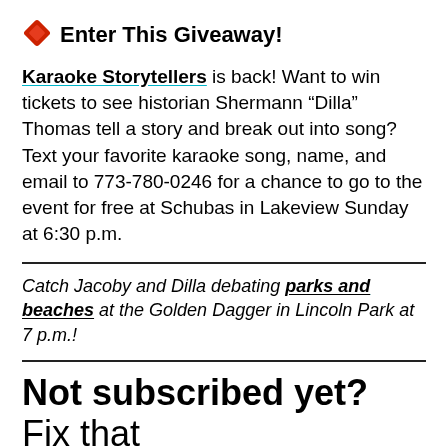Enter This Giveaway!
Karaoke Storytellers is back! Want to win tickets to see historian Shermann “Dilla” Thomas tell a story and break out into song? Text your favorite karaoke song, name, and email to 773-780-0246 for a chance to go to the event for free at Schubas in Lakeview Sunday at 6:30 p.m.
Catch Jacoby and Dilla debating parks and beaches at the Golden Dagger in Lincoln Park at 7 p.m.!
Not subscribed yet? Fix that 👇